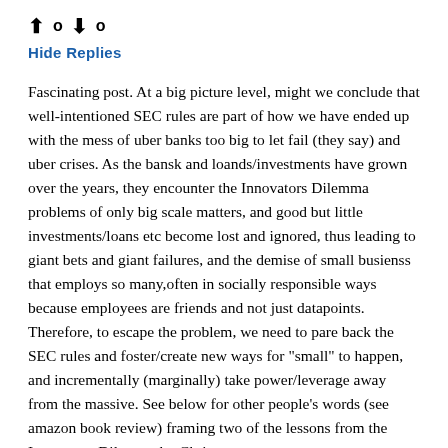↑ 0 ↓ 0
Hide Replies
Fascinating post. At a big picture level, might we conclude that well-intentioned SEC rules are part of how we have ended up with the mess of uber banks too big to let fail (they say) and uber crises. As the bansk and loands/investments have grown over the years, they encounter the Innovators Dilemma problems of only big scale matters, and good but little investments/loans etc become lost and ignored, thus leading to giant bets and giant failures, and the demise of small busienss that employs so many,often in socially responsible ways because employees are friends and not just datapoints. Therefore, to escape the problem, we need to pare back the SEC rules and foster/create new ways for "small" to happen, and incrementally (marginally) take power/leverage away from the massive. See below for other people's words (see amazon book review) framing two of the lessons from the Innovators Dilemma by Christensen.